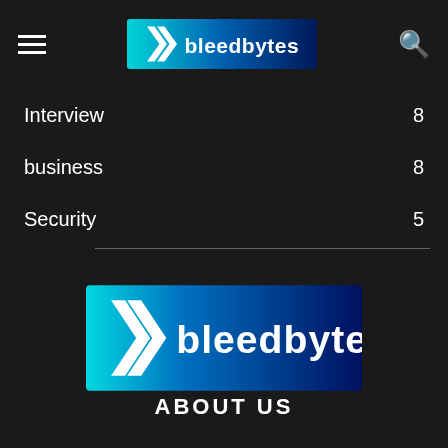bleedbytes
Interview 8
business 8
Security 5
[Figure (logo): BleedBytes logo — large version, gradient background from cyan to dark blue with angular arrows and stylized text]
ABOUT US